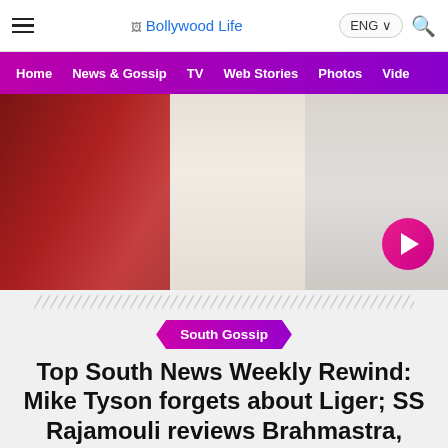Bollywood Life
[Figure (screenshot): Website navigation bar with hamburger menu, Bollywood Life logo, ENG language selector button, and search icon]
[Figure (photo): Hero image showing close-up of red and white fabric/clothing with a pink play button overlay in bottom right]
South Gossip
Top South News Weekly Rewind: Mike Tyson forgets about Liger; SS Rajamouli reviews Brahmastra, Mahesh Babu follows Prabhas and